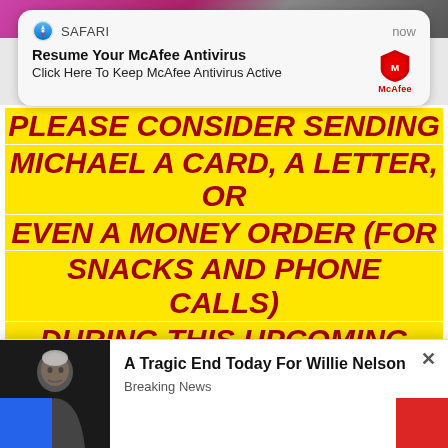[Figure (screenshot): Safari browser notification popup reading 'Resume Your McAfee Antivirus - Click Here To Keep McAfee Antivirus Active' with McAfee shield logo and 'now' timestamp]
PLEASE CONSIDER SENDING MICHAEL A CARD, A LETTER, OR EVEN A MONEY ORDER (FOR SNACKS AND PHONE CALLS) DURING THIS UPCOMING HOLIDAY SEASON.  WE PROMISE YOU IT WILL MA[ke a difference in Michael']L'S
[Figure (screenshot): Pop-up ad overlay showing a photo of an elderly man with text 'A Tragic End Today For Willie Nelson' and 'Breaking News' label, with an X close button]